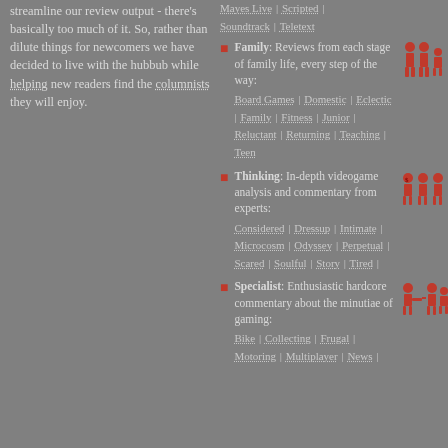streamline our review output - there's basically too much of it. So, rather than dilute things for newcomers we have decided to live with the hubbub while helping new readers find the columnists they will enjoy.
Family: Reviews from each stage of family life, every step of the way: Board Games | Domestic | Eclectic | Family | Fitness | Junior | Reluctant | Returning | Teaching | Teen
Thinking: In-depth videogame analysis and commentary from experts: Considered | Dressup | Intimate | Microcosm | Odyssey | Perpetual | Scared | Soulful | Story | Tired
Specialist: Enthusiastic hardcore commentary about the minutiae of gaming: Bike | Collecting | Frugal | Motoring | Multiplayer | News |